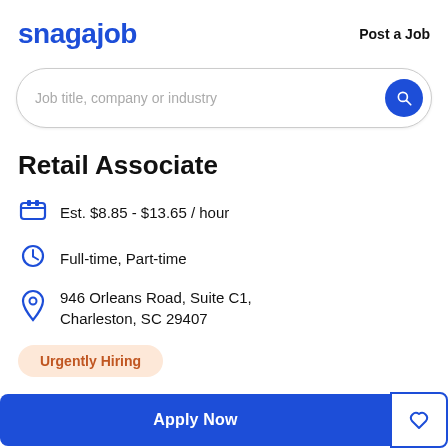snagajob | Post a Job
[Figure (screenshot): Search bar with placeholder text 'Job title, company or industry' and a blue circular search button]
Retail Associate
Est. $8.85 - $13.65 / hour
Full-time, Part-time
946 Orleans Road, Suite C1, Charleston, SC 29407
Urgently Hiring
Apply Now